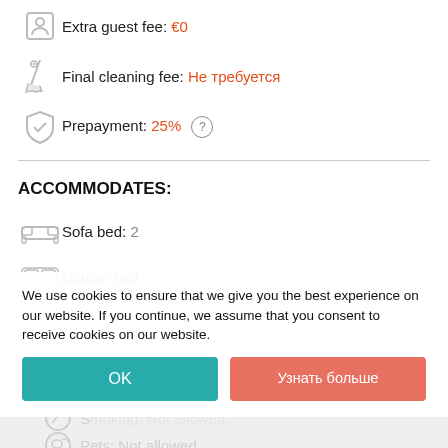Extra guest fee: €0
Final cleaning fee: Не требуется
Prepayment: 25% (?)
ACCOMMODATES:
Sofa bed: 2
Double bed: 1
HOUSE RULES:
Children: Allowed
Smoking: Not allowed
Pets: Not allowed
We use cookies to ensure that we give you the best experience on our website. If you continue, we assume that you consent to receive cookies on our website.
OK | Узнать больше